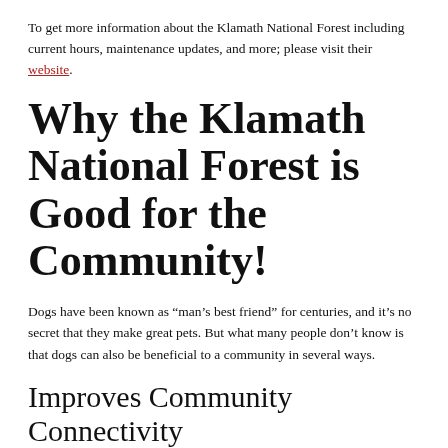To get more information about the Klamath National Forest including current hours, maintenance updates, and more; please visit their website.
Why the Klamath National Forest is Good for the Community!
Dogs have been known as “man’s best friend” for centuries, and it’s no secret that they make great pets. But what many people don’t know is that dogs can also be beneficial to a community in several ways.
Improves Community Connectivity